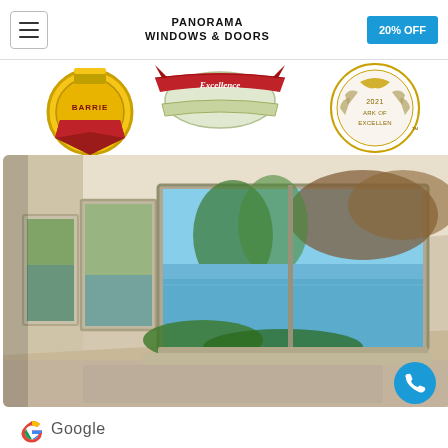PANORAMA WINDOWS & DOORS | 20% OFF
[Figure (illustration): Awards strip showing three award badges: a gold medal with BARRIE text, a red ribbon Excellence award, and a Mark of Excellence 2021 seal]
[Figure (photo): Interior room with large white-framed picture windows overlooking trees, greenery, and a blue lake or bay with clear sky]
[Figure (logo): Google logo partial view at bottom]